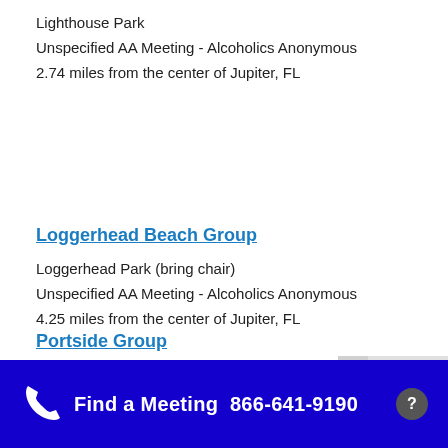Lighthouse Park
Unspecified AA Meeting - Alcoholics Anonymous
2.74 miles from the center of Jupiter, FL
Loggerhead Beach Group
Loggerhead Park (bring chair)
Unspecified AA Meeting - Alcoholics Anonymous
4.25 miles from the center of Jupiter, FL
Find a Meeting  866-641-9190